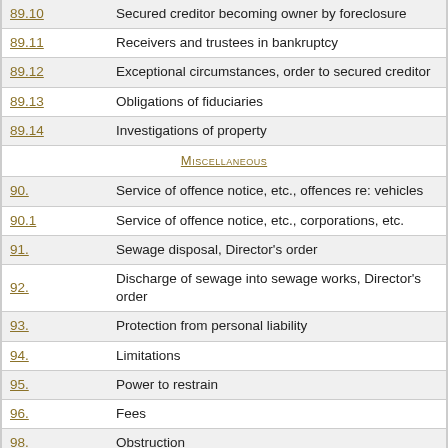| Section | Description |
| --- | --- |
| 89.10 | Secured creditor becoming owner by foreclosure |
| 89.11 | Receivers and trustees in bankruptcy |
| 89.12 | Exceptional circumstances, order to secured creditor |
| 89.13 | Obligations of fiduciaries |
| 89.14 | Investigations of property |
|  | Miscellaneous |
| 90. | Service of offence notice, etc., offences re: vehicles |
| 90.1 | Service of offence notice, etc., corporations, etc. |
| 91. | Sewage disposal, Director's order |
| 92. | Discharge of sewage into sewage works, Director's order |
| 93. | Protection from personal liability |
| 94. | Limitations |
| 95. | Power to restrain |
| 96. | Fees |
| 98. | Obstruction |
| 99. | Recovery of money owing to Treasurer |